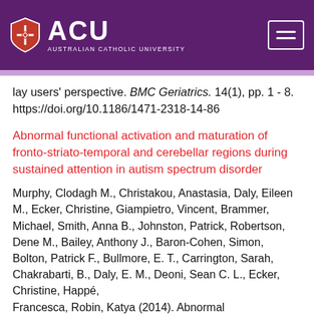[Figure (logo): Australian Catholic University (ACU) logo with shield and text on purple header bar]
lay users' perspective. BMC Geriatrics. 14(1), pp. 1 - 8. https://doi.org/10.1186/1471-2318-14-86
Abnormal functional activation and maturation of fronto-striato-temporal and cerebellar regions during sustained attention in autism spectrum disorder
Murphy, Clodagh M., Christakou, Anastasia, Daly, Eileen M., Ecker, Christine, Giampietro, Vincent, Brammer, Michael, Smith, Anna B., Johnston, Patrick, Robertson, Dene M., Bailey, Anthony J., Baron-Cohen, Simon, Bolton, Patrick F., Bullmore, E. T., Carrington, Sarah, Chakrabarti, B., Daly, E. M., Deoni, Sean C. L., Ecker, Christine, Happé, Francesca, Robin, Katya (2014). Abnormal